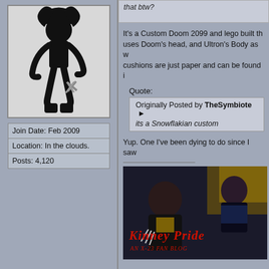[Figure (illustration): User avatar: black and white illustration of a figure with X logo, on light background]
| Join Date: Feb 2009 |
| Location: In the clouds. |
| Posts: 4,120 |
that btw?
It's a Custom Doom 2099 and lego built th... uses Doom's head, and Ultron's Body as w... cushions are just paper and can be found i...
Quote:
Originally Posted by TheSymbiote
its a Snowflakian custom
Yup. One I've been dying to do since I saw...
[Figure (illustration): Kinney Pride - An X-23 Fan Blog banner image with comic art of female characters in black costumes]